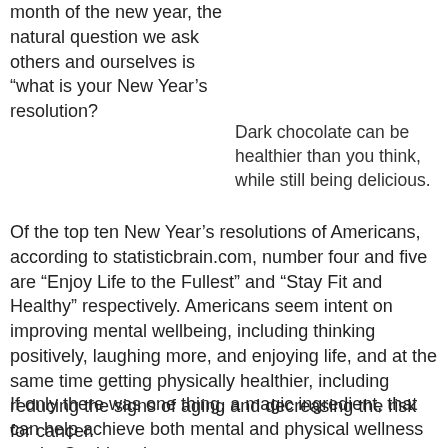month of the new year, the natural question we ask others and ourselves is “what is your New Year’s resolution?
Dark chocolate can be healthier than you think, while still being delicious.
Of the top ten New Year’s resolutions of Americans, according to statisticbrain.com, number four and five are “Enjoy Life to the Fullest” and “Stay Fit and Healthy” respectively. Americans seem intent on improving mental wellbeing, including thinking positively, laughing more, and enjoying life, and at the same time getting physically healthier, including reducing the signs of aging and decreasing the risk for cancer.
If only there was one thing, a magic ingredient, that can help achieve both mental and physical wellness goals. Could such